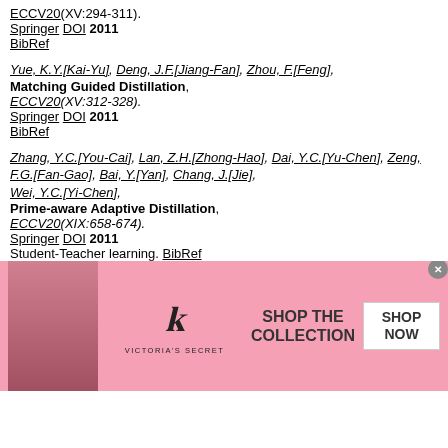ECCV20(XV:294-311). Springer DOI 2011 BibRef
Yue, K.Y.[Kai-Yu], Deng, J.F.[Jiang-Fan], Zhou, F.[Feng], Matching Guided Distillation, ECCV20(XV:312-328). Springer DOI 2011 BibRef
Zhang, Y.C.[You-Cai], Lan, Z.H.[Zhong-Hao], Dai, Y.C.[Yu-Chen], Zeng, F.G.[Fan-Gao], Bai, Y.[Yan], Chang, J.[Jie], Wei, Y.C.[Yi-Chen], Prime-aware Adaptive Distillation, ECCV20(XIX:658-674). Springer DOI 2011 Student-Teacher learning. BibRef
Xu, G.D.[Guo-Dong], Liu, Z.W.[Zi-Wei], Li, X.X.[Xiao-Xiao], ...[Chen-Change],
[Figure (other): Victoria's Secret advertisement banner with model, logo, and 'SHOP THE COLLECTION / SHOP NOW' text]